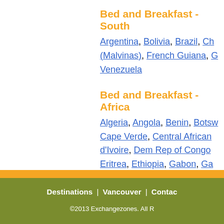Bed and Breakfast - South
Argentina, Bolivia, Brazil, Ch... (Malvinas), French Guiana, G... Venezuela
Bed and Breakfast - Africa
Algeria, Angola, Benin, Botsw... Cape Verde, Central African ... d'Ivoire, Dem Rep of Congo ... Eritrea, Ethiopia, Gabon, Ga... Lesotho, Liberia, Libya, Mada... Mayotte, Morocco, Mozambi... Rwanda, Sao Tome and Prin... Somalia, South Africa , Suda... Uganda, Zambia, Zimbabwe
Destinations | Vancouver | Contac... ©2013 Exchangezones. All R...